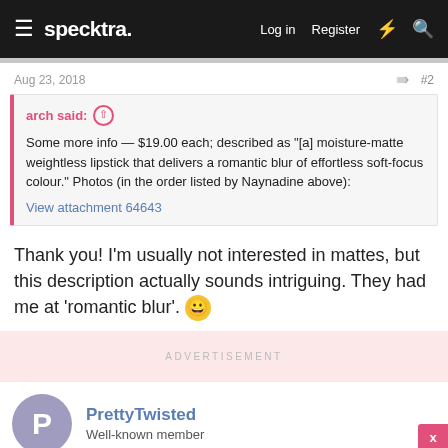specktra. Log in Register
Aug 23, 2018   #2
arch said: ↑
Some more info — $19.00 each; described as "[a] moisture-matte weightless lipstick that delivers a romantic blur of effortless soft-focus colour." Photos (in the order listed by Naynadine above):
View attachment 64643
Thank you! I'm usually not interested in mattes, but this description actually sounds intriguing. They had me at 'romantic blur'. 😀
ADVERTISEMENT
PrettyTwisted
Well-known member